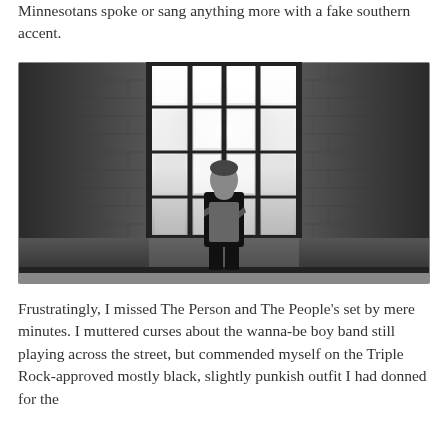Minnesotans spoke or sang anything more with a fake southern accent.
[Figure (photo): Black and white photograph of a young man standing in front of a large multi-paned industrial window in a brick building. Light streams through the window behind him. He is wearing a vest and dark shirt with arms crossed.]
Frustratingly, I missed The Person and The People's set by mere minutes. I muttered curses about the wanna-be boy band still playing across the street, but commended myself on the Triple Rock-approved mostly black, slightly punkish outfit I had donned for the